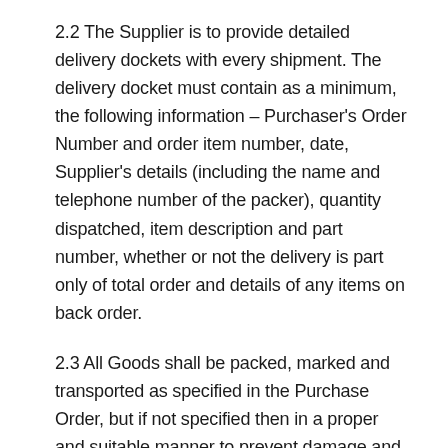2.2 The Supplier is to provide detailed delivery dockets with every shipment. The delivery docket must contain as a minimum, the following information – Purchaser's Order Number and order item number, date, Supplier's details (including the name and telephone number of the packer), quantity dispatched, item description and part number, whether or not the delivery is part only of total order and details of any items on back order.
2.3 All Goods shall be packed, marked and transported as specified in the Purchase Order, but if not specified then in a proper and suitable manner to prevent damage and deterioration during transit and storage. In the case of dangerous or hazardous Goods the Supplier shall provide the carrier with the relevant